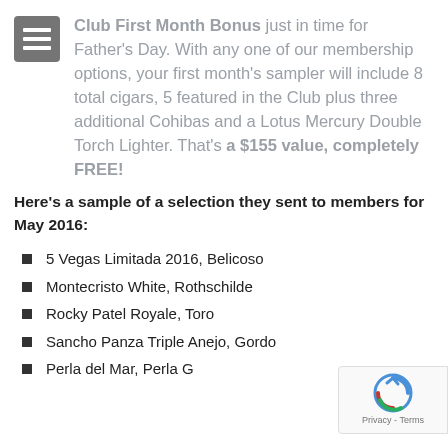Club First Month Bonus just in time for Father's Day. With any one of our membership options, your first month's sampler will include 8 total cigars, 5 featured in the Club plus three additional Cohibas and a Lotus Mercury Double Torch Lighter. That's a $155 value, completely FREE!
Here's a sample of a selection they sent to members for May 2016:
5 Vegas Limitada 2016, Belicoso
Montecristo White, Rothschilde
Rocky Patel Royale, Toro
Sancho Panza Triple Anejo, Gordo
Perla del Mar, Perla G
[Figure (logo): reCAPTCHA badge with spinning arrow icon and Privacy - Terms text]